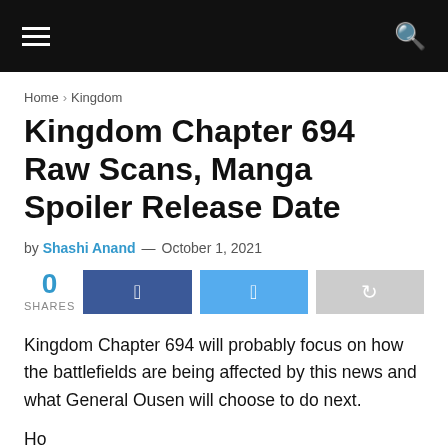☰  🔍
Home › Kingdom
Kingdom Chapter 694 Raw Scans, Manga Spoiler Release Date
by Shashi Anand — October 1, 2021
0 SHARES [Facebook share] [Twitter share] [Share]
Kingdom Chapter 694 will probably focus on how the battlefields are being affected by this news and what General Ousen will choose to do next.
Ho...